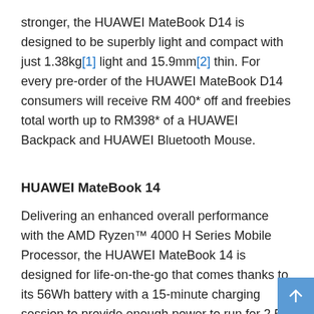stronger, the HUAWEI MateBook D14 is designed to be superbly light and compact with just 1.38kg[1] light and 15.9mm[2] thin. For every pre-order of the HUAWEI MateBook D14 consumers will receive RM 400* off and freebies total worth up to RM398* of a HUAWEI Backpack and HUAWEI Bluetooth Mouse.
HUAWEI MateBook 14
Delivering an enhanced overall performance with the AMD Ryzen™ 4000 H Series Mobile Processor, the HUAWEI MateBook 14 is designed for life-on-the-go that comes thanks to its 56Wh battery with a 15-minute charging session to provide enough power to run for 2.5 hours[3] of use. Enjoy a RM 100 off and receive freebies total worth up to RM667* in